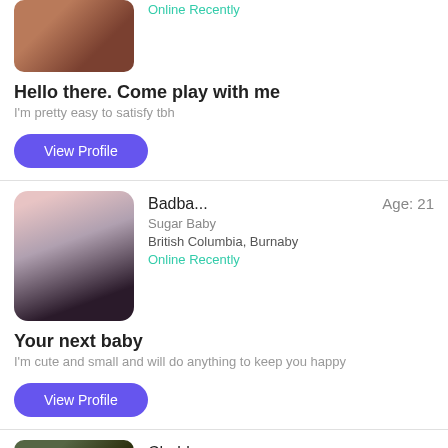Online Recently
Hello there. Come play with me
I'm pretty easy to satisfy tbh
View Profile
Badba...
Age: 21
Sugar Baby
British Columbia, Burnaby
Online Recently
Your next baby
I'm cute and small and will do anything to keep you happy
View Profile
Chubb...
Age: 24
Sugar Baby